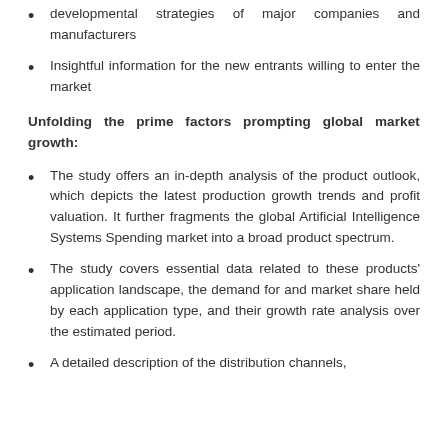developmental strategies of major companies and manufacturers
Insightful information for the new entrants willing to enter the market
Unfolding the prime factors prompting global market growth:
The study offers an in-depth analysis of the product outlook, which depicts the latest production growth trends and profit valuation. It further fragments the global Artificial Intelligence Systems Spending market into a broad product spectrum.
The study covers essential data related to these products' application landscape, the demand for and market share held by each application type, and their growth rate analysis over the estimated period.
A detailed description of the distribution channels,